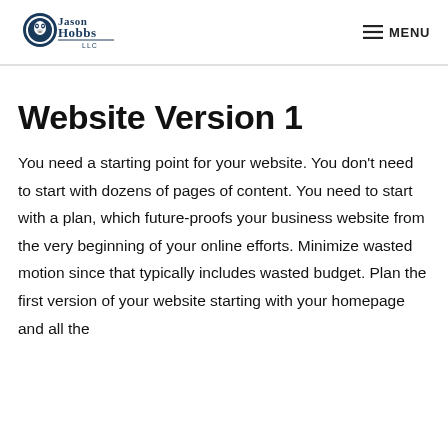Jason Hobbs LLC — MENU
Website Version 1
You need a starting point for your website. You don't need to start with dozens of pages of content. You need to start with a plan, which future-proofs your business website from the very beginning of your online efforts. Minimize wasted motion since that typically includes wasted budget. Plan the first version of your website starting with your homepage and all the